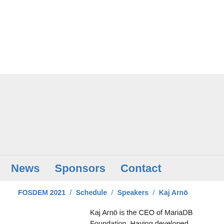News   Sponsors   Contact
FOSDEM 2021 / Schedule / Speakers / Kaj Arnö
Kaj Arnö is the CEO of MariaDB Foundation. Having developed database applications since the early